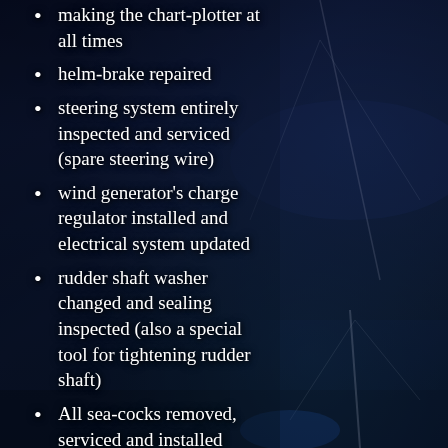[Figure (photo): Aerial/overhead view of a sailing yacht on dark water, with mast and rigging visible. Two photos composited: upper half shows deck from above, lower half shows yacht from different angle with blue sky and mast.]
making the chart-plotter at all times
helm-brake repaired
steering system entirely inspected and serviced (spare steering wire)
wind generator's charge regulator installed and electrical system updated
rudder shaft washer changed and sealing inspected (also a special tool for tightening rudder shaft)
All sea-cocks removed, serviced and installed properly
Thunder protection wires